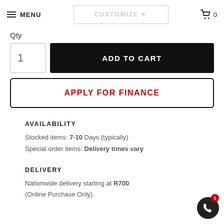MENU | CUSTOMIZE | 0
Qty
1   ADD TO CART
APPLY FOR FINANCE
AVAILABILITY
Stocked items: 7-10 Days (typically)
Special order items: Delivery times vary
DELIVERY
Nationwide delivery starting at R700 (Online Purchase Only).